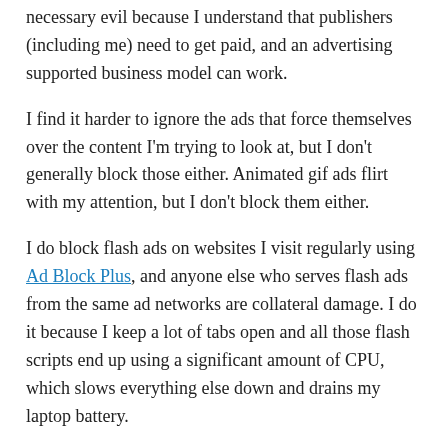necessary evil because I understand that publishers (including me) need to get paid, and an advertising supported business model can work.
I find it harder to ignore the ads that force themselves over the content I'm trying to look at, but I don't generally block those either. Animated gif ads flirt with my attention, but I don't block them either.
I do block flash ads on websites I visit regularly using Ad Block Plus, and anyone else who serves flash ads from the same ad networks are collateral damage. I do it because I keep a lot of tabs open and all those flash scripts end up using a significant amount of CPU, which slows everything else down and drains my laptop battery.
Share this:
Email | Facebook | Twitter | Reddit | More